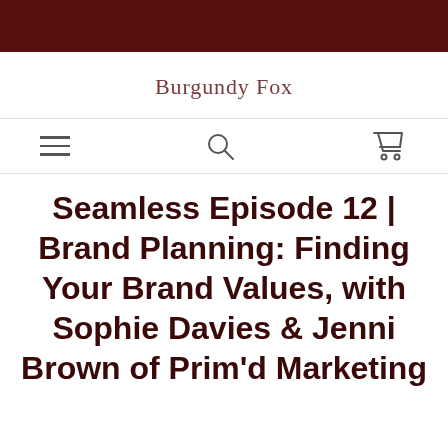Burgundy Fox
Seamless Episode 12 | Brand Planning: Finding Your Brand Values, with Sophie Davies & Jenni Brown of Prim'd Marketing